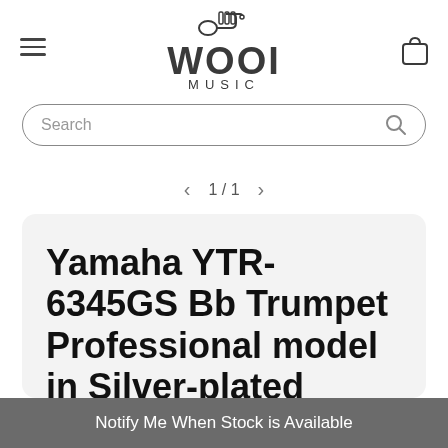[Figure (logo): WOOI Music store logo with trumpet icon above stylized text WOOI and MUSIC below]
[Figure (screenshot): Search bar with rounded border and search icon on right]
1 / 1
Yamaha YTR-6345GS Bb Trumpet Professional model in Silver-plated
Notify Me When Stock is Available